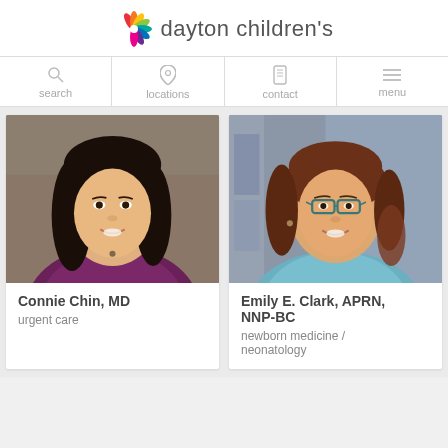[Figure (logo): Dayton Children's hospital logo with colorful pinwheel/snowflake icon and text 'dayton children's']
search
locations
contact
menu
[Figure (photo): Professional headshot of Connie Chin, MD - woman with dark hair, smiling, wearing purple top]
Connie Chin, MD
urgent care
[Figure (photo): Professional headshot of Emily E. Clark, APRN, NNP-BC - woman with glasses and auburn hair, smiling, wearing light blue top]
Emily E. Clark, APRN, NNP-BC
newborn medicine / neonatology